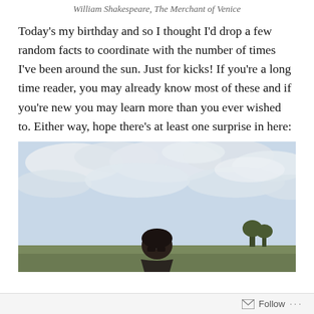William Shakespeare, The Merchant of Venice
Today’s my birthday and so I thought I’d drop a few random facts to coordinate with the number of times I’ve been around the sun. Just for kicks! If you’re a long time reader, you may already know most of these and if you’re new you may learn more than you ever wished to. Either way, hope there’s at least one surprise in here:
[Figure (photo): A person wearing sunglasses standing outdoors under a partly cloudy sky, with green landscape in the background.]
Follow